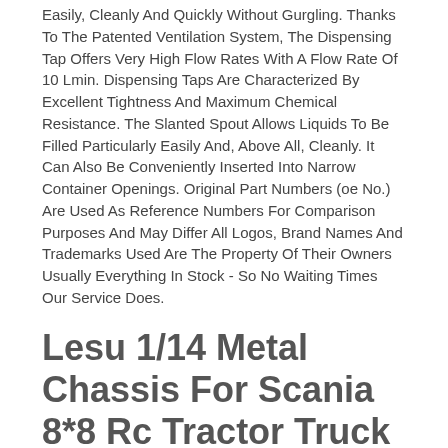Easily, Cleanly And Quickly Without Gurgling. Thanks To The Patented Ventilation System, The Dispensing Tap Offers Very High Flow Rates With A Flow Rate Of 10 Lmin. Dispensing Taps Are Characterized By Excellent Tightness And Maximum Chemical Resistance. The Slanted Spout Allows Liquids To Be Filled Particularly Easily And, Above All, Cleanly. It Can Also Be Conveniently Inserted Into Narrow Container Openings. Original Part Numbers (oe No.) Are Used As Reference Numbers For Comparison Purposes And May Differ All Logos, Brand Names And Trademarks Used Are The Property Of Their Owners Usually Everything In Stock - So No Waiting Times Our Service Does.
Lesu 1/14 Metal Chassis For Scania 8*8 Rc Tractor Truck Tamiya W/ Servo Motor
Hercules Scania Unassembled Cabin Set. Savox 1251 Steering Servo. Shift Servo. Lock Differential Servo. Material Aluminum Alloy, Stainless Steel, Plastic. Chassis Condition New, Assembled And Unpainted.